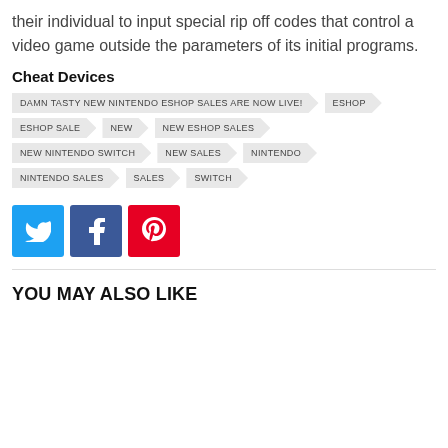their individual to input special rip off codes that control a video game outside the parameters of its initial programs.
Cheat Devices
DAMN TASTY NEW NINTENDO ESHOP SALES ARE NOW LIVE!
ESHOP
ESHOP SALE
NEW
NEW ESHOP SALES
NEW NINTENDO SWITCH
NEW SALES
NINTENDO
NINTENDO SALES
SALES
SWITCH
[Figure (infographic): Social share buttons: Twitter (blue), Facebook (dark blue), Pinterest (red)]
YOU MAY ALSO LIKE